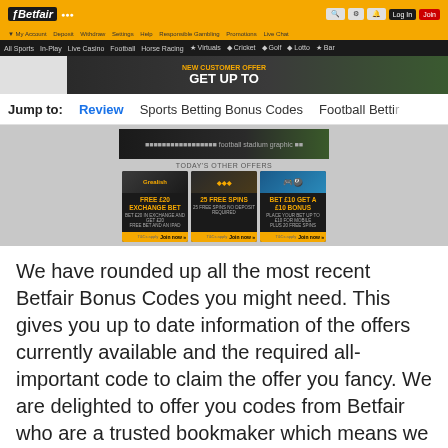[Figure (screenshot): Betfair website screenshot showing header with yellow logo bar, black navigation bar, promotional banner with 'GET UP TO' text, jump-to navigation links, and promotional cards for 'FREE £20 EXCHANGE BET', '25 FREE SPINS', and 'BET £10 GET A £10 BONUS']
We have rounded up all the most recent Betfair Bonus Codes you might need. This gives you up to date information of the offers currently available and the required all-important code to claim the offer you fancy. We are delighted to offer you codes from Betfair who are a trusted bookmaker which means we are happy they meet the high industry standards and are confident our readers